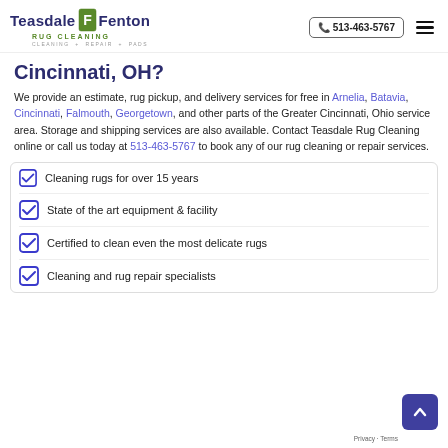[Figure (logo): Teasdale Fenton Rug Cleaning logo with green F icon, tagline: Cleaning + Repair + Pads]
Cincinnati, OH?
We provide an estimate, rug pickup, and delivery services for free in Arnelia, Batavia, Cincinnati, Falmouth, Georgetown, and other parts of the Greater Cincinnati, Ohio service area. Storage and shipping services are also available. Contact Teasdale Rug Cleaning online or call us today at 513-463-5767 to book any of our rug cleaning or repair services.
Cleaning rugs for over 15 years
State of the art equipment & facility
Certified to clean even the most delicate rugs
Cleaning and rug repair specialists